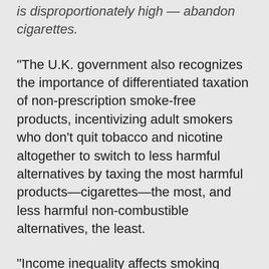is disproportionately high — abandon cigarettes.
“The U.K. government also recognizes the importance of differentiated taxation of non-prescription smoke-free products, incentivizing adult smokers who don’t quit tobacco and nicotine altogether to switch to less harmful alternatives by taxing the most harmful products—cigarettes—the most, and less harmful non-combustible alternatives, the least.
“Income inequality affects smoking rates across the globe—smokers in lower income households are less likely to have access to these smoke-free alternatives. As representatives from health ministries across the globe are shortly set to gather for an international meeting on tobacco control, we hope that other governments and regulators recognize the additional actions that the U.K. government is taking to offer better alternatives to adults who would otherwise